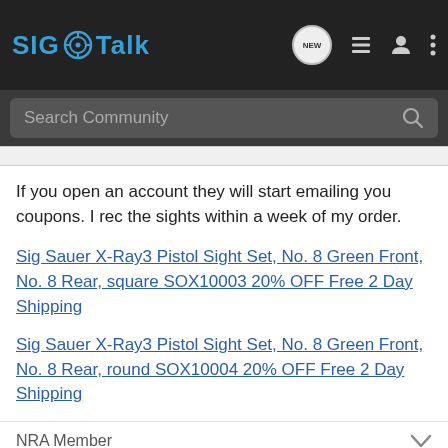SIG Talk
If you open an account they will start emailing you coupons. I rec the sights within a week of my order.
Sig Sauer X-Ray3 Pistol Sight Set, No. 8 Green Front, No. 8 Rear, square SOX10003 20% OFF Free 2 Day Shipping
Sig Sauer X-Ray3 Pistol Sight Set, No. 8 Green Front, No. 8 Rear, round SOX10004 20% OFF Free 2 Day Shipping
NRA Member
[Figure (photo): Kel-Tec advertisement banner showing a pistol with text SEEKING LONG RANGE RELATIONSHIP featuring the CP33 pistol]